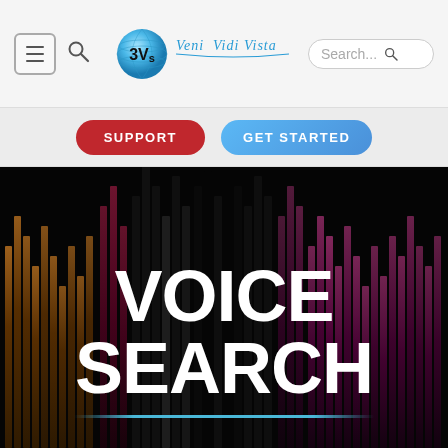[Figure (screenshot): Website navigation bar with hamburger menu icon, search icon, 3Vs Veni Vidi Vista logo in center, and search bar on right]
[Figure (screenshot): Sub-navigation bar with red SUPPORT button and blue GET STARTED button]
VOICE SEARCH
[Figure (illustration): Dark hero section background with equalizer/sound bars visualization in dark reds and browns]